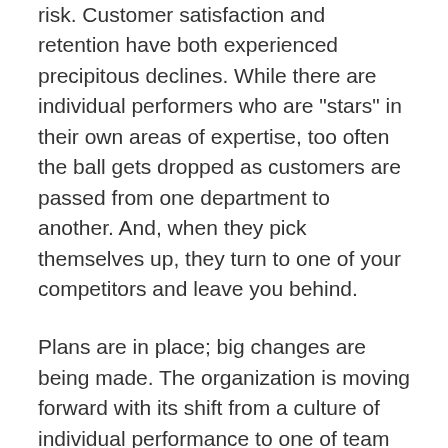customer service is putting the future of the business at risk. Customer satisfaction and retention have both experienced precipitous declines. While there are individual performers who are "stars" in their own areas of expertise, too often the ball gets dropped as customers are passed from one department to another. And, when they pick themselves up, they turn to one of your competitors and leave you behind.
Plans are in place; big changes are being made. The organization is moving forward with its shift from a culture of individual performance to one of team performance. Then at the annual holiday celebration the CEO steps up to the microphone to announce "Employee of the Year."
Ummmmm… If you are celebrating what was important, rather than what will be important in the success of the